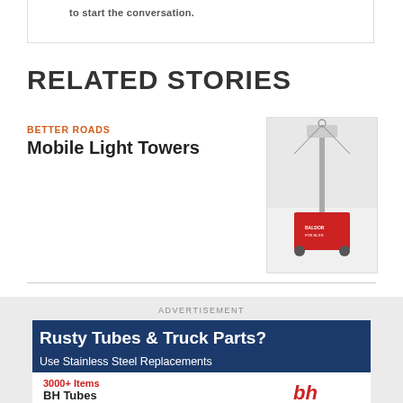to start the conversation.
RELATED STORIES
BETTER ROADS
Mobile Light Towers
[Figure (photo): Photo of a mobile light tower with red generator unit (Baldor Power Elite brand) suspended by cables]
ADVERTISEMENT
[Figure (infographic): Advertisement banner: Rusty Tubes & Truck Parts? Use Stainless Steel Replacements. 3000+ Items. BH Tubes logo.]